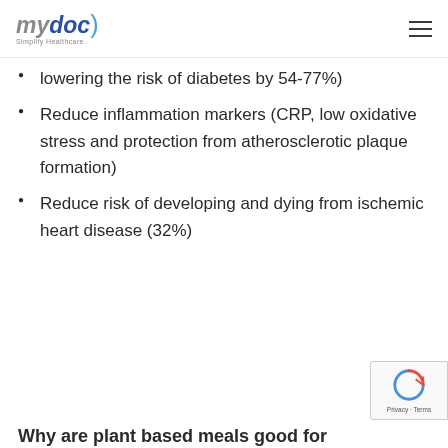mydoc) Simplify Healthcare
lowering the risk of diabetes by 54-77%)
Reduce inflammation markers (CRP, low oxidative stress and protection from atherosclerotic plaque formation)
Reduce risk of developing and dying from ischemic heart disease (32%)
Why are plant based meals good for